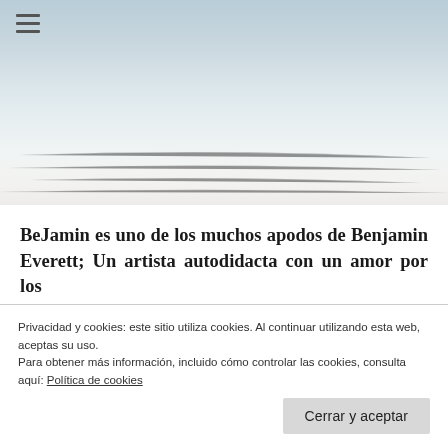[Figure (photo): Winter landscape hero image: snowy field with bare trees silhouetted in the upper right, misty pale blue-grey sky, smooth snow texture in the foreground]
BeJamin es uno de los muchos apodos de Benjamin Everett; Un artista autodidacta con un amor por los...
Privacidad y cookies: este sitio utiliza cookies. Al continuar utilizando esta web, aceptas su uso.
Para obtener más información, incluido cómo controlar las cookies, consulta aquí: Política de cookies
Cerrar y aceptar